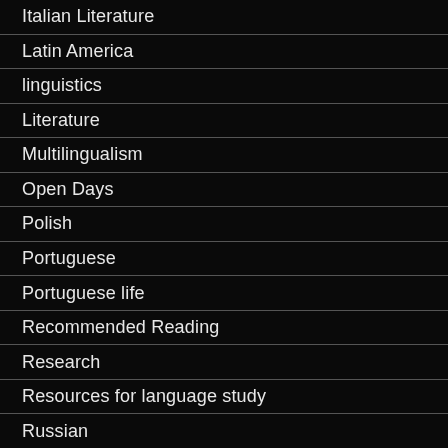Italian Literature
Latin America
linguistics
Literature
Multilingualism
Open Days
Polish
Portuguese
Portuguese life
Recommended Reading
Research
Resources for language study
Russian